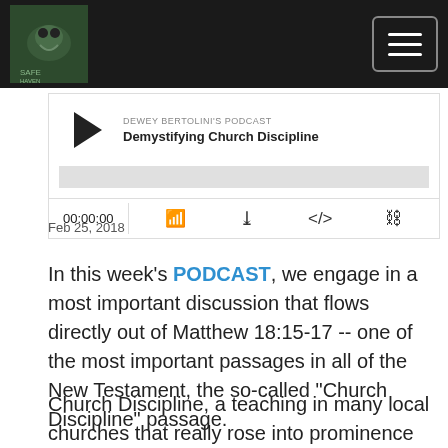[Figure (screenshot): Dark navigation header bar with a nature/bird logo on the left and a hamburger menu button on the right]
[Figure (screenshot): Podcast audio player widget showing play button, title 'Demystifying Church Discipline' from Dewey Bertolini's Podcast, progress bar at 00:00:00, and control icons for RSS, download, embed code, and share]
Feb 25, 2018
In this week's PODCAST, we engage in a most important discussion that flows directly out of Matthew 18:15-17 -- one of the most important passages in all of the New Testament, the so-called “Church Discipline” passage.
Church Discipline, a teaching in many local churches that really rose into prominence in the...